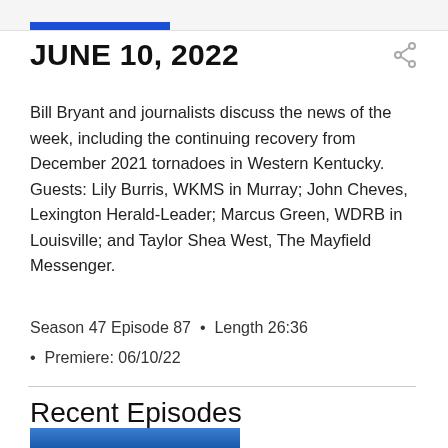JUNE 10, 2022
Bill Bryant and journalists discuss the news of the week, including the continuing recovery from December 2021 tornadoes in Western Kentucky. Guests: Lily Burris, WKMS in Murray; John Cheves, Lexington Herald-Leader; Marcus Green, WDRB in Louisville; and Taylor Shea West, The Mayfield Messenger.
Season 47 Episode 87 • Length 26:36
Premiere: 06/10/22
Recent Episodes
[Figure (photo): Thumbnail image for a recent episode, showing a blue-toned broadcast scene]